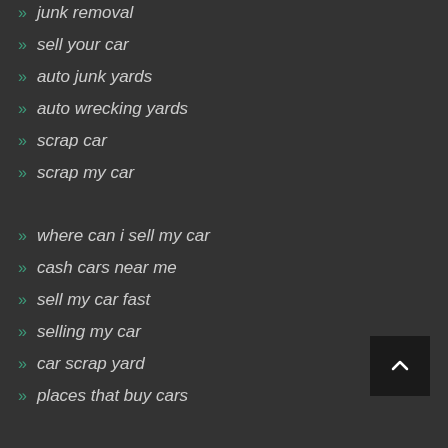junk removal
sell your car
auto junk yards
auto wrecking yards
scrap car
scrap my car
where can i sell my car
cash cars near me
sell my car fast
selling my car
car scrap yard
places that buy cars
auto scrap yard
local salvage yards
scrapping a car
car recycling